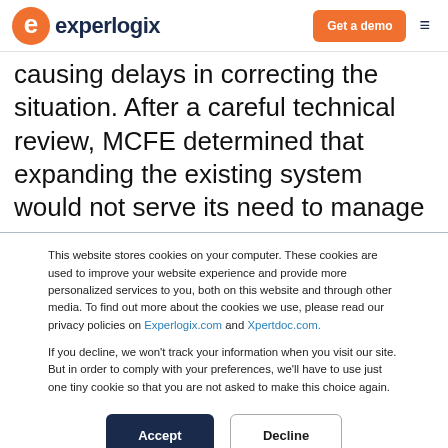experlogix | Get a demo
causing delays in correcting the situation. After a careful technical review, MCFE determined that expanding the existing system would not serve its need to manage
This website stores cookies on your computer. These cookies are used to improve your website experience and provide more personalized services to you, both on this website and through other media. To find out more about the cookies we use, please read our privacy policies on Experlogix.com and Xpertdoc.com.

If you decline, we won't track your information when you visit our site. But in order to comply with your preferences, we'll have to use just one tiny cookie so that you are not asked to make this choice again.
Accept | Decline